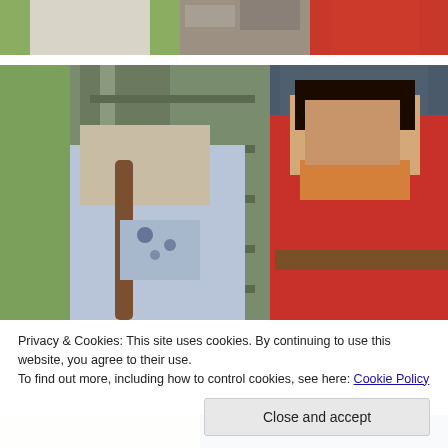[Figure (photo): Partial photo at top of page showing a person in white clothing and another in red costume near stone/wooden backdrop — cropped, only top portion visible.]
[Figure (photo): Photo of a young woman with a long braid wearing an off-shoulder light blue floral dress standing next to a man dressed as Gaston from Beauty and the Beast (red long-sleeve shirt with orange collar, brown belt) in front of a wooden door backdrop at a theme park.]
Privacy & Cookies: This site uses cookies. By continuing to use this website, you agree to their use.
To find out more, including how to control cookies, see here: Cookie Policy
[Figure (photo): Partial photo at bottom of page — only the very top edge is visible, showing parts of costumes.]